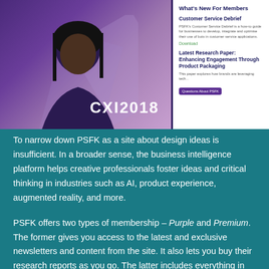[Figure (screenshot): Screenshot of PSFK website showing CXI2018 event image with a woman wearing glasses on a purple background, alongside a white sidebar with 'What's New For Members' section including Customer Service Debrief and Latest Research Paper: Enhancing Engagement Through Product Packaging entries]
To narrow down PSFK as a site about design ideas is insufficient. In a broader sense, the business intelligence platform helps creative professionals foster ideas and critical thinking in industries such as AI, product experience, augmented reality, and more.
PSFK offers two types of membership – Purple and Premium. The former gives you access to the latest and exclusive newsletters and content from the site. It also lets you buy their research reports as you go. The latter includes everything in the Purple membership in addition to instant access to the site's analysts